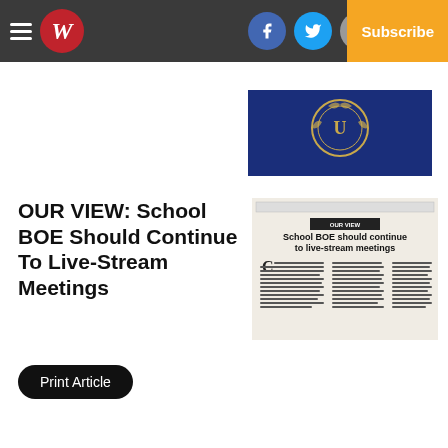Navigation bar with hamburger menu, W logo, Facebook, Twitter, Email icons, Log In, Subscribe
[Figure (photo): Partial view of a blue background with a golden seal/emblem (government or school seal)]
OUR VIEW: School BOE Should Continue To Live-Stream Meetings
[Figure (photo): Newspaper clipping showing article titled 'School BOE should continue to live-stream meetings' with columns of text]
Print Article